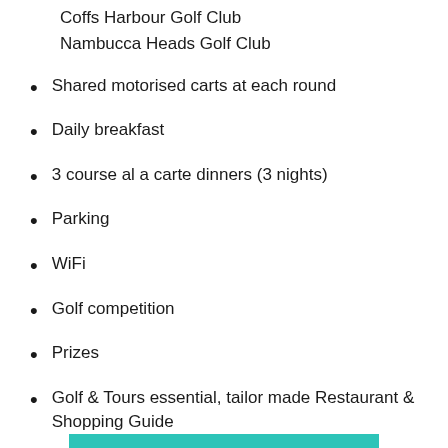Coffs Harbour Golf Club
Nambucca Heads Golf Club
Shared motorised carts at each round
Daily breakfast
3 course al a carte dinners (3 nights)
Parking
WiFi
Golf competition
Prizes
Golf & Tours essential, tailor made Restaurant & Shopping Guide
Welcome gift
Fully escorted by our fabulous Golf & Tours Host
[Figure (other): Teal/turquoise decorative bar at bottom of page]